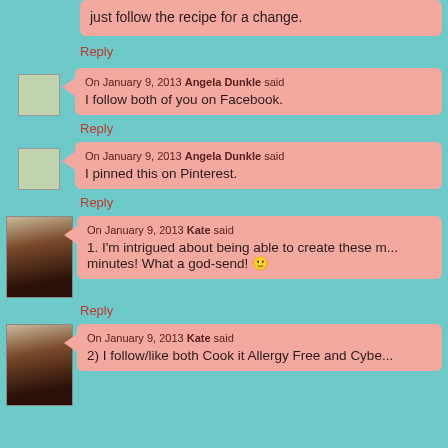just follow the recipe for a change.
Reply
On January 9, 2013 Angela Dunkle said
I follow both of you on Facebook.
Reply
On January 9, 2013 Angela Dunkle said
I pinned this on Pinterest.
Reply
On January 9, 2013 Kate said
1. I'm intrigued about being able to create these m... minutes! What a god-send! 🙂
Reply
On January 9, 2013 Kate said
2) I follow/like both Cook it Allergy Free and Cybe...